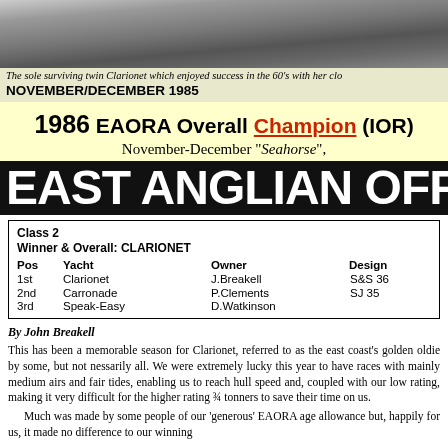[Figure (photo): Black and white photograph of a sailing yacht, partially visible, showing water and waves.]
The sole surviving twin Clarionet which enjoyed success in the 60's with her clo
NOVEMBER/DECEMBER 1985
1986 EAORA Overall Champion (IOR)
November-December "Seahorse",
EAST ANGLIAN OFFSHOR
| Pos | Yacht | Owner | Design |
| --- | --- | --- | --- |
| 1st | Clarionet | J.Breakell | S&S 36 |
| 2nd | Carronade | P.Clements | SJ 35 |
| 3rd | Speak-Easy | D.Watkinson |  |
By John Breakell
This has been a memorable season for Clarionet, referred to as the east coast's golden oldie by some, but not nessarily all. We were extremely lucky this year to have races with mainly medium airs and fair tides, enabling us to reach hull speed and, coupled with our low rating, making it very difficult for the higher rating ¾ tonners to save their time on us.

Much was made by some people of our 'generous' EAORA age allowance but, happily for us, it made no difference to our winning